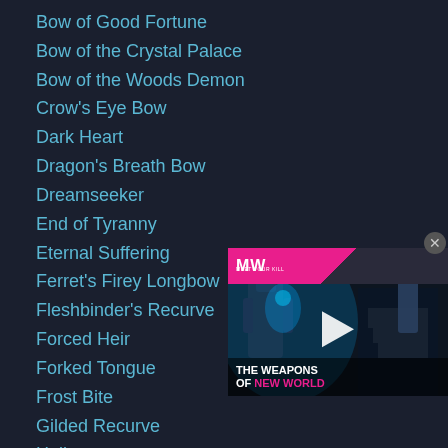Bow of Good Fortune
Bow of the Crystal Palace
Bow of the Woods Demon
Crow's Eye Bow
Dark Heart
Dragon's Breath Bow
Dreamseeker
End of Tyranny
Eternal Suffering
Ferret's Firey Longbow
Fleshbinder's Recurve
Forced Heir
Forked Tongue
Frost Bite
Gilded Recurve
Hailstorm
Heart of the Greenwoods
Heartseeker
Longbow of the Earthmother
[Figure (screenshot): Video advertisement overlay showing 'The Weapons of New World' with MW logo, pink branding, play button, and game imagery]